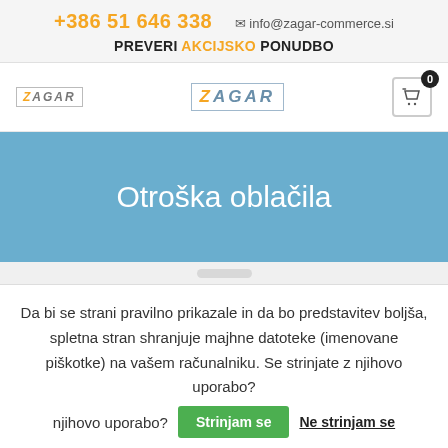+386 51 646 338  info@zagar-commerce.si  PREVERI AKCIJSKO PONUDBO
[Figure (logo): Zagar Commerce logo (left, small)]
[Figure (logo): Zagar Commerce logo (center, larger)]
[Figure (other): Shopping cart icon with badge showing 0]
Otroška oblačila
Da bi se strani pravilno prikazale in da bo predstavitev boljša, spletna stran shranjuje majhne datoteke (imenovane piškotke) na vašem računalniku. Se strinjate z njihovo uporabo?
Strinjam se  Ne strinjam se